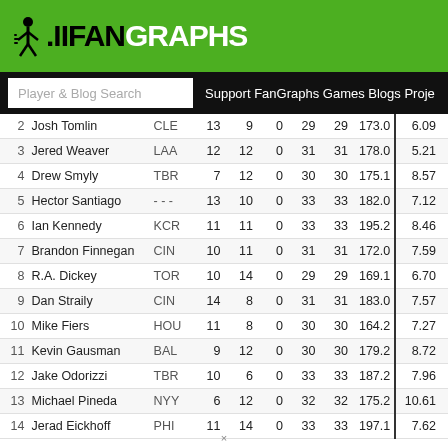FanGraphs
| # | Name | Team | W | L | SV | G | GS | IP | K/9 | ... |
| --- | --- | --- | --- | --- | --- | --- | --- | --- | --- | --- |
| 2 | Josh Tomlin | CLE | 13 | 9 | 0 | 29 | 29 | 173.0 | 6.09 |
| 3 | Jered Weaver | LAA | 12 | 12 | 0 | 31 | 31 | 178.0 | 5.21 |
| 4 | Drew Smyly | TBR | 7 | 12 | 0 | 30 | 30 | 175.1 | 8.57 |
| 5 | Hector Santiago | - - - | 13 | 10 | 0 | 33 | 33 | 182.0 | 7.12 |
| 6 | Ian Kennedy | KCR | 11 | 11 | 0 | 33 | 33 | 195.2 | 8.46 |
| 7 | Brandon Finnegan | CIN | 10 | 11 | 0 | 31 | 31 | 172.0 | 7.59 |
| 8 | R.A. Dickey | TOR | 10 | 14 | 0 | 29 | 29 | 169.1 | 6.70 |
| 9 | Dan Straily | CIN | 14 | 8 | 0 | 31 | 31 | 183.0 | 7.57 |
| 10 | Mike Fiers | HOU | 11 | 8 | 0 | 30 | 30 | 164.2 | 7.27 |
| 11 | Kevin Gausman | BAL | 9 | 12 | 0 | 30 | 30 | 179.2 | 8.72 |
| 12 | Jake Odorizzi | TBR | 10 | 6 | 0 | 33 | 33 | 187.2 | 7.96 |
| 13 | Michael Pineda | NYY | 6 | 12 | 0 | 32 | 32 | 175.2 | 10.61 |
| 14 | Jerad Eickhoff | PHI | 11 | 14 | 0 | 33 | 33 | 197.1 | 7.62 |